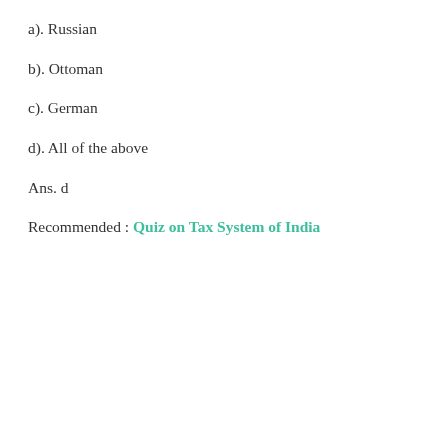a). Russian
b). Ottoman
c). German
d). All of the above
Ans. d
Recommended : Quiz on Tax System of India